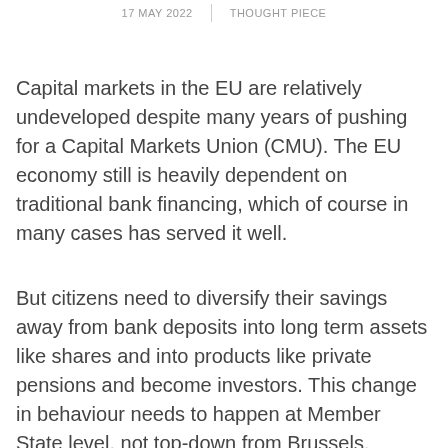17 MAY 2022 | THOUGHT PIECE
Capital markets in the EU are relatively undeveloped despite many years of pushing for a Capital Markets Union (CMU). The EU economy still is heavily dependent on traditional bank financing, which of course in many cases has served it well.
But citizens need to diversify their savings away from bank deposits into long term assets like shares and into products like private pensions and become investors. This change in behaviour needs to happen at Member State level, not top-down from Brussels.